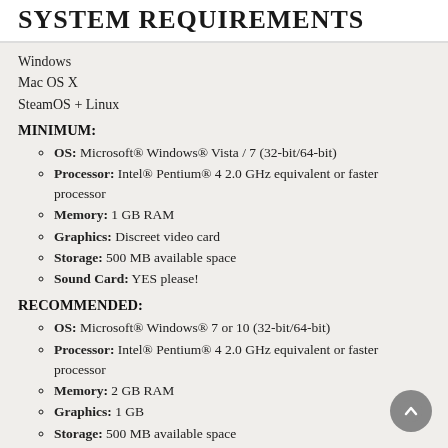SYSTEM REQUIREMENTS
Windows
Mac OS X
SteamOS + Linux
MINIMUM:
OS: Microsoft® Windows® Vista / 7 (32-bit/64-bit)
Processor: Intel® Pentium® 4 2.0 GHz equivalent or faster processor
Memory: 1 GB RAM
Graphics: Discreet video card
Storage: 500 MB available space
Sound Card: YES please!
RECOMMENDED:
OS: Microsoft® Windows® 7 or 10 (32-bit/64-bit)
Processor: Intel® Pentium® 4 2.0 GHz equivalent or faster processor
Memory: 2 GB RAM
Graphics: 1 GB
Storage: 500 MB available space